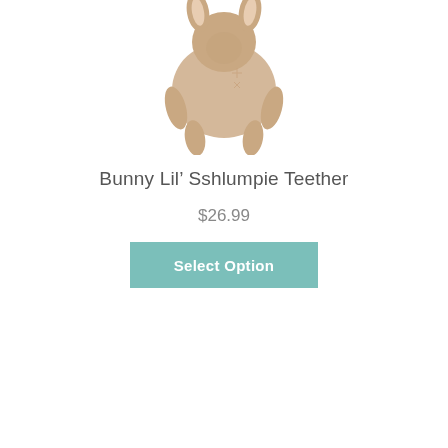[Figure (photo): A plush bunny Lil' Sshlumpie Teether toy in beige/tan color, shown from the back with floppy ears and limbs, hanging or held upside down against a white background.]
Bunny Lil’ Sshlumpie Teether
$26.99
Select Option